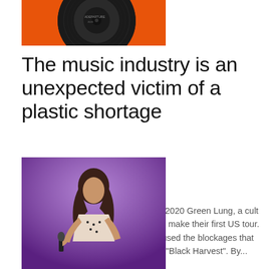[Figure (photo): Vinyl record on orange background, partially cropped at top]
The music industry is an unexpected victim of a plastic shortage
Karen D. Banda ...   Sep 30, 2021
October 2, 2021ADEPARTURE from 2020 Green Lung, a cult London heavy metal band, was set to make their first US tour. Then came the covid-19. The group used the blockages that followed to produce a second album, "Black Harvest". By...
[Figure (photo): Female singer performing on stage under purple lighting, holding microphone]